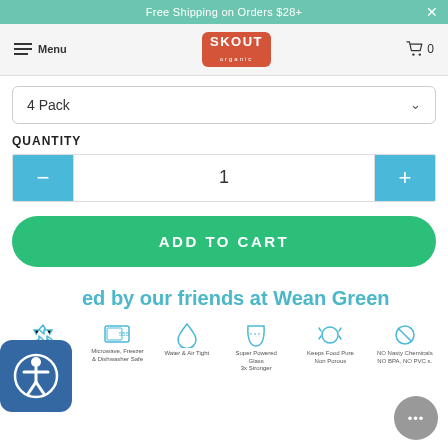Free Shipping on Orders $28+
[Figure (logo): Skout Organic logo in red badge with white text]
4 Pack
QUANTITY
1
ADD TO CART
ed by our friends at Wean Green
[Figure (infographic): Feature icons row: Endlessly Reusable Infinitely Recyclable, Microwave Freezer & Dishwasher Safe, Water & Air Tight, Super Powered Glass 3x Stronger, Keeps Food Pure Non Porous, NO Nasty Chemicals NO BPA NO PVC s.]